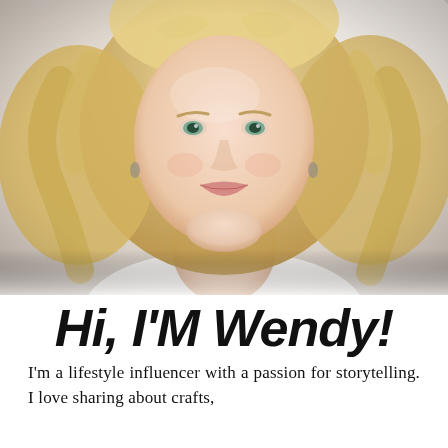[Figure (photo): Portrait photo of a smiling blonde woman with wavy hair, wearing a white top, hand near her chin, against a soft blurred background.]
Hi, I'M Wendy!
I'm a lifestyle influencer with a passion for storytelling. I love sharing about crafts,